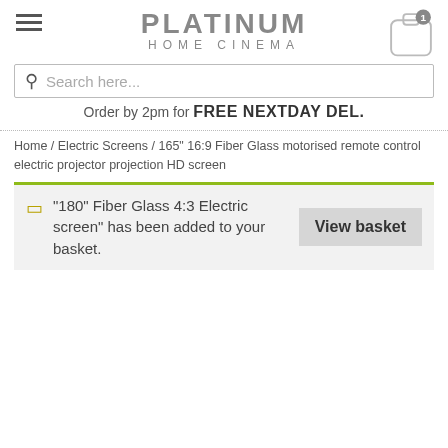PLATINUM HOME CINEMA
Search here...
Order by 2pm for FREE NEXTDAY DEL.
Home / Electric Screens / 165" 16:9 Fiber Glass motorised remote control electric projector projection HD screen
"180" Fiber Glass 4:3 Electric screen" has been added to your basket.
View basket